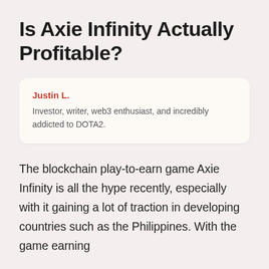Is Axie Infinity Actually Profitable?
Justin L.
Investor, writer, web3 enthusiast, and incredibly addicted to DOTA2.
The blockchain play-to-earn game Axie Infinity is all the hype recently, especially with it gaining a lot of traction in developing countries such as the Philippines. With the game earning